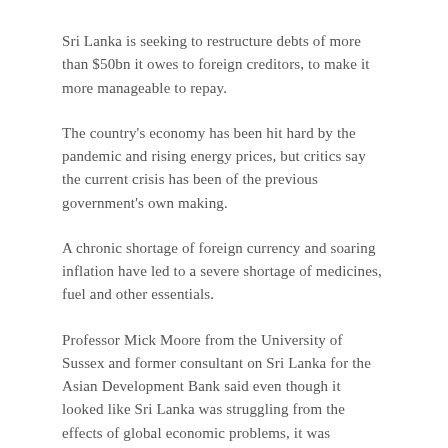Sri Lanka is seeking to restructure debts of more than $50bn it owes to foreign creditors, to make it more manageable to repay.
The country's economy has been hit hard by the pandemic and rising energy prices, but critics say the current crisis has been of the previous government's own making.
A chronic shortage of foreign currency and soaring inflation have led to a severe shortage of medicines, fuel and other essentials.
Professor Mick Moore from the University of Sussex and former consultant on Sri Lanka for the Asian Development Bank said even though it looked like Sri Lanka was struggling from the effects of global economic problems, it was “emphatically not that”.